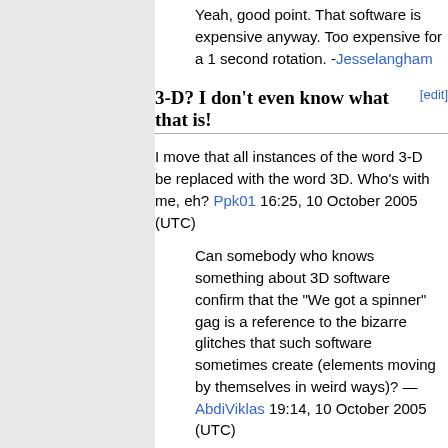Yeah, good point. That software is expensive anyway. Too expensive for a 1 second rotation. -Jesselangham
3-D? I don't even know what that is!
I move that all instances of the word 3-D be replaced with the word 3D. Who's with me, eh? Ppk01 16:25, 10 October 2005 (UTC)
Can somebody who knows something about 3D software confirm that the "We got a spinner" gag is a reference to the bizarre glitches that such software sometimes create (elements moving by themselves in weird ways)? —AbdiViklas 19:14, 10 October 2005 (UTC)
I found it to be a reference to CGI animation glitches like the ones shown under special features of Pixar movies.--- RatherAnnoying 19:29, 10 October 2005 (UTC)